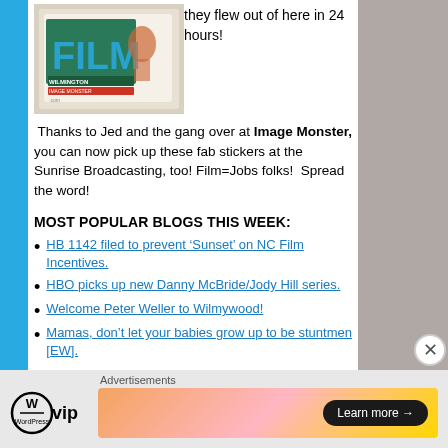[Figure (photo): Photo of a Wilmington Film Image Monster sticker/sign with teal/green lettering and a character graphic]
they flew out of here in 24 hours!
Thanks to Jed and the gang over at Image Monster, you can now pick up these fab stickers at the Sunrise Broadcasting, too! Film=Jobs folks! Spread the word!
MOST POPULAR BLOGS THIS WEEK:
HB 1142 filed to prevent ‘Sunset’ on NC Film Incentives.
HBO picks up new Danny McBride/Jody Hill series.
Welcome Peter Weller to Wilmywood!
Mamas, don’t let your babies grow up to be stuntmen [EW].
Advertisements